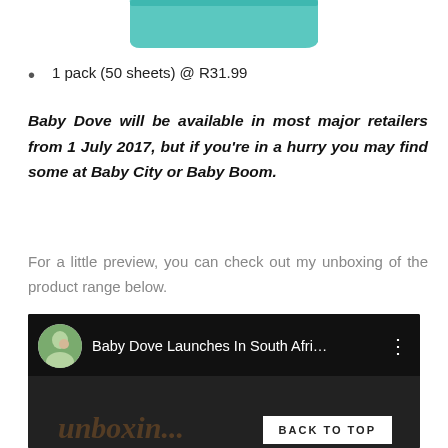[Figure (photo): Partial view of a teal/mint colored Baby Dove product (wipes packaging) at the top of the page]
1 pack (50 sheets) @ R31.99
Baby Dove will be available in most major retailers from 1 July 2017, but if you're in a hurry you may find some at Baby City or Baby Boom.
For a little preview, you can check out my unboxing of the product range below.
[Figure (screenshot): YouTube video thumbnail showing 'Baby Dove Launches In South Afri...' with a circular avatar of a woman holding a baby, three-dot menu icon, and partial video content with watermark text visible]